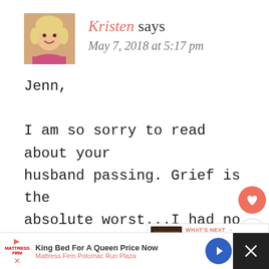[Figure (photo): Profile photo of a smiling blonde woman]
Kristen says
May 7, 2018 at 5:17 pm
Jenn,

I am so sorry to read about your husband passing. Grief is the absolute worst...I had no idea how much it changes a person to their core until I experienced it myself. I think my situation initially grief related and thats
[Figure (infographic): Sidebar with heart/like button and share button]
[Figure (infographic): What's Next widget showing 'Would you be missed?']
King Bed For A Queen Price Now
Mattress Firm Potomac Run Plaza